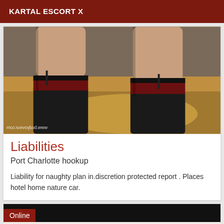KARTAL ESCORT X
[Figure (photo): Close-up photo of legs wearing black stockings with dark red band at the top, standing on a wooden surface. Watermark text visible at bottom right.]
Liabilities
Port Charlotte hookup
Liability for naughty plan in.discretion protected report . Places hotel home nature car.
[Figure (photo): Second card with black background showing Online badge in dark red, and partial photo of feet/shoes at the bottom.]